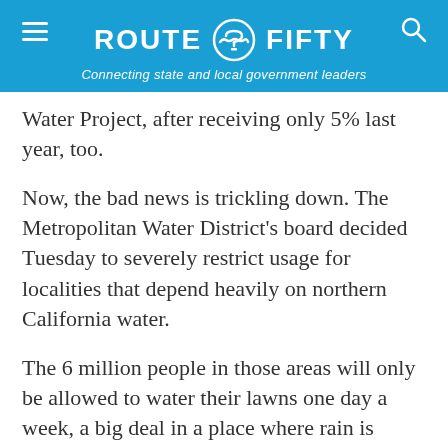ROUTE FIFTY — Connecting state and local government leaders
Water Project, after receiving only 5% last year, too.
Now, the bad news is trickling down. The Metropolitan Water District's board decided Tuesday to severely restrict usage for localities that depend heavily on northern California water.
The 6 million people in those areas will only be allowed to water their lawns one day a week, a big deal in a place where rain is scarce but the local greenery – from palm trees and parade-